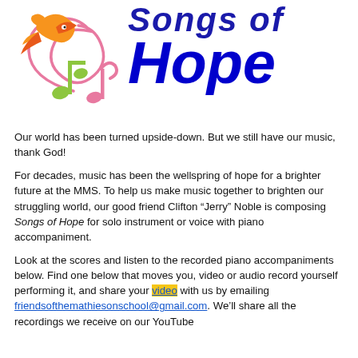[Figure (logo): Songs of Hope logo with colorful musical notes and a bird, alongside stylized cursive title text 'Songs of Hope' in blue]
Our world has been turned upside-down. But we still have our music, thank God!
For decades, music has been the wellspring of hope for a brighter future at the MMS. To help us make music together to brighten our struggling world, our good friend Clifton “Jerry” Noble is composing Songs of Hope for solo instrument or voice with piano accompaniment.
Look at the scores and listen to the recorded piano accompaniments below. Find one below that moves you, video or audio record yourself performing it, and share your video with us by emailing friendsofthemathiesonschool@gmail.com. We’ll share all the recordings we receive on our YouTube